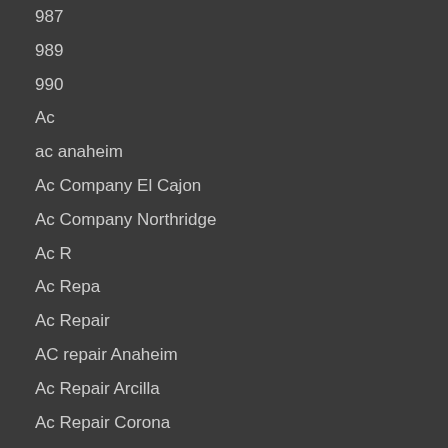987
989
990
Ac
ac anaheim
Ac Company El Cajon
Ac Company Northridge
Ac R
Ac Repa
Ac Repair
AC repair Anaheim
Ac Repair Arcilla
Ac Repair Corona
Ac Repair El Cajon
Ac Repair Lak
Ac Repair Lake Elsinore
Ac Repair Northridge